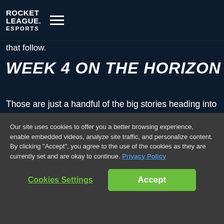ROCKET LEAGUE ESPORTS [hamburger menu]
that follow.
WEEK 4 ON THE HORIZON
Those are just a handful of the big stories heading into Week 4 of the RLCS. What have been your favorite moments and stories? Let us know on Twitter with the hashtag #RLCS7!
Our site uses cookies to offer you a better browsing experience, enable embedded videos, analyze site traffic, and personalize content. By clicking “Accept”, you agree to the use of the cookies as they are currently set and are okay to continue. Privacy Policy
Cookies Settings    Accept